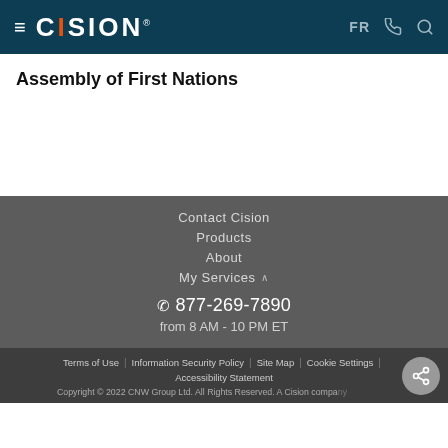CISION — FR [phone icon] [search icon]
Assembly of First Nations
Contact Cision
Products
About
My Services
877-269-7890 from 8 AM - 10 PM ET
Terms of Use | Information Security Policy | Site Map | Cookie Settings | Accessibility Statement
Copyright © 2022 CNW Group Ltd. All Rights Reserved. A Cision company